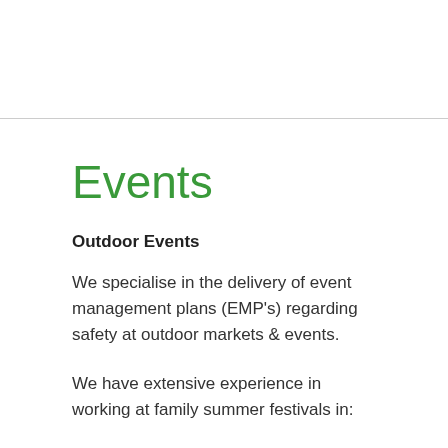Events
Outdoor Events
We specialise in the delivery of event management plans (EMP’s) regarding safety at outdoor markets & events.
We have extensive experience in working at family summer festivals in: